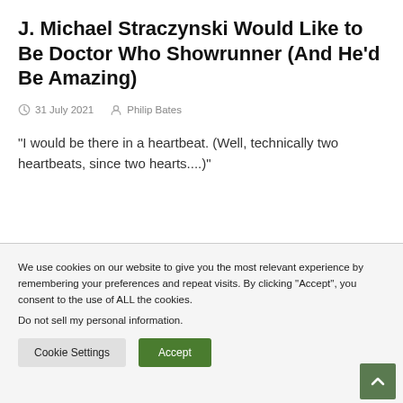J. Michael Straczynski Would Like to Be Doctor Who Showrunner (And He'd Be Amazing)
31 July 2021  Philip Bates
“I would be there in a heartbeat. (Well, technically two heartbeats, since two hearts....)”
We use cookies on our website to give you the most relevant experience by remembering your preferences and repeat visits. By clicking “Accept”, you consent to the use of ALL the cookies.
Do not sell my personal information.